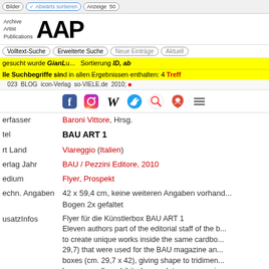Bilder | Abwärts sortieren | Anzeige 50
Archive Artist Publications — AAP Logo
Volltext-Suche | Erweiterte Suche | Neue Einträge | Aktuell
gesucht wurde GianLu... | Sortierung ID, ab
lle Suchbegriffe sind in allen Ergebnissen enthalten: 4 Treff
BLOG icon-Verlag so-VIELE.de 2010
[Figure (infographic): Social media icons: Facebook, Instagram, Wikipedia, Twitter, search icon, Google Maps icon, hamburger menu]
| Label | Value |
| --- | --- |
| erfasser | Baroni Vittore, Hrsg. |
| tel | BAU ART 1 |
| rt Land | Viareggio (Italien) |
| erlag Jahr | BAU / Pezzini Editore, 2010 |
| edium | Flyer, Prospekt |
| echn. Angaben | 42 x 59,4 cm, keine weiteren Angaben vorhand... Bogen 2x gefaltet |
| usatzInfos | Flyer für die Künstlerbox BAU ART 1
Eleven authors part of the editorial staff of the b... to create unique works inside the same cardbo... 29,7) that were used for the BAU magazine an... boxes (cm. 29,7 x 42), giving shape to tridimen... hung on walls, exhibited as sculptures or manip... surprises and inventions. |